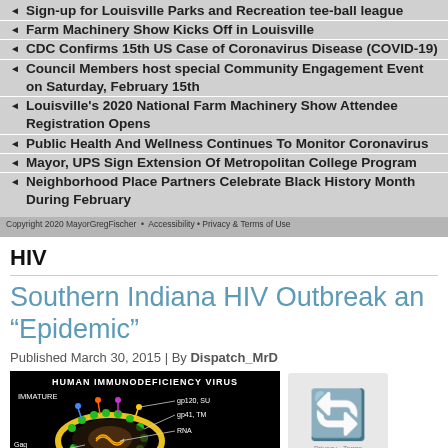Sign-up for Louisville Parks and Recreation tee-ball league
Farm Machinery Show Kicks Off in Louisville
CDC Confirms 15th US Case of Coronavirus Disease (COVID-19)
Council Members host special Community Engagement Event on Saturday, February 15th
Louisville's 2020 National Farm Machinery Show Attendee Registration Opens
Public Health And Wellness Continues To Monitor Coronavirus
Mayor, UPS Sign Extension Of Metropolitan College Program
Neighborhood Place Partners Celebrate Black History Month During February
Copyright 2020 MayorGregFischer ...
HIV
Southern Indiana HIV Outbreak an “Epidemic”
Published March 30, 2015 | By Dispatch_MrD
[Figure (illustration): Diagram of Human Immunodeficiency Virus (IMMATURE) showing labeled components: gp120 SU, gp41 TM, RNA, Gag Precursor on a black background]